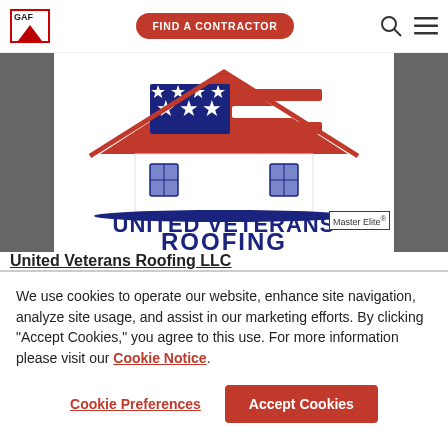[Figure (logo): GAF logo in top left corner with red border box]
[Figure (other): Find a Contractor red pill-shaped button in nav bar]
[Figure (logo): United Veterans Roofing logo with American flag themed house roof, text UNITED VETERANS ROOFING in dark blue bold, Master Elite(R) badge]
United Veterans Roofing LLC
We use cookies to operate our website, enhance site navigation, analyze site usage, and assist in our marketing efforts. By clicking "Accept Cookies," you agree to this use. For more information please visit our Cookie Notice.
Cookie Preferences
Accept Cookies